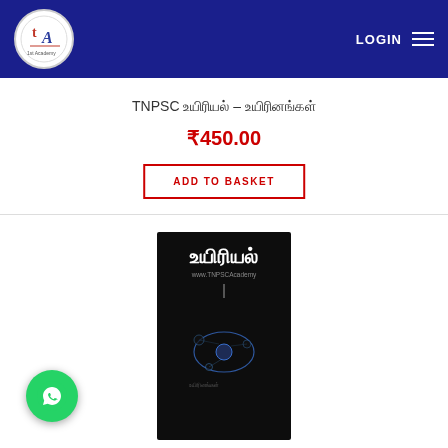[Figure (logo): TNPSC Academy logo in white circle on dark blue header bar]
LOGIN ☰
TNPSC உயிரியல் – உயிரினங்கள்
₹450.00
ADD TO BASKET
[Figure (photo): Book cover for TNPSC உயிரியல் (Biology) published by TNPSC Academy, dark background with biological cell imagery and Tamil text உயிரியல்]